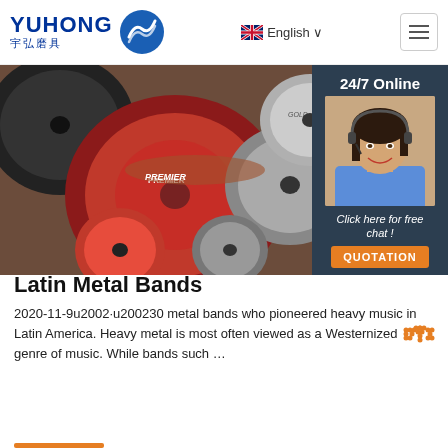YUHONG 宇弘磨具 | English
[Figure (photo): Collection of grinding and cutting discs/wheels (red and grey) piled together, various brands including Premier and Gold]
[Figure (photo): 24/7 Online customer service agent - woman with headset smiling, with dark blue panel, 'Click here for free chat!' text and orange QUOTATION button]
Latin Metal Bands
2020-11-9u2002·u200230 metal bands who pioneered heavy music in Latin America. Heavy metal is most often viewed as a Westernized genre of music. While bands such …